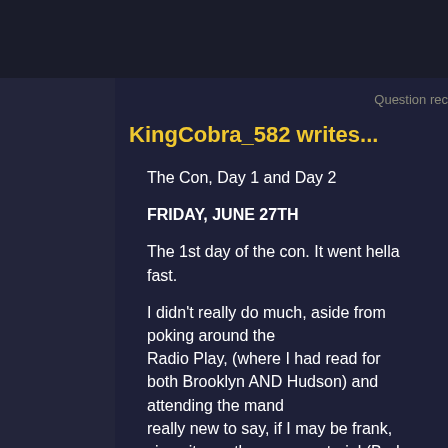Question rec
KingCobra_582 writes...
The Con, Day 1 and Day 2
FRIDAY, JUNE 27TH
The 1st day of the con. It went hella fast.
I didn't really do much, aside from poking around the Radio Play, (where I had read for both Brooklyn AND Hudson) and attending the mand really new to say, if I may be frank, since it was the same material (Bad Guys leica reel, seems to show every year, but I was still entertained.
Went to the bar afterwards for a beer. My 2nd or so t even. What a great idea, Ed.
*eyeroll*